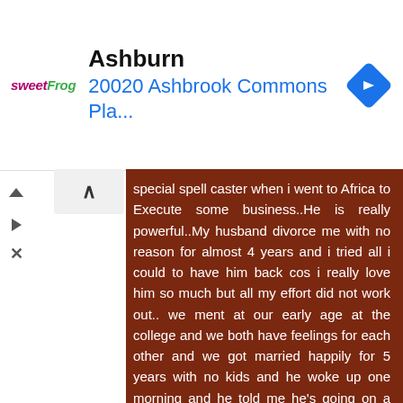[Figure (infographic): Advertisement banner for sweetFrog showing location: Ashburn, 20020 Ashbrook Commons Pla... with a navigation arrow diamond icon]
special spell caster when i went to Africa to Execute some business..He is really powerful..My husband divorce me with no reason for almost 4 years and i tried all i could to have him back cos i really love him so much but all my effort did not work out.. we ment at our early age at the college and we both have feelings for each other and we got married happily for 5 years with no kids and he woke up one morning and he told me he's going on a divorce..i thought it was a joke and when he came back from work he tender to me a divorce letter and he packed all his stuffs from my house..i ran mad and i tried all i could to have him back but all did not work out..i was lonely for almost 4 years...So when i told the spell caster what happened he said he will help me and he asked for his full name and his picture..i gave him All..At first i was skeptical but i gave it a try cos have tried so many spell casters and there was no solution...so when he finished with the consultation,he got back to me that my ex is with a woman, so that was